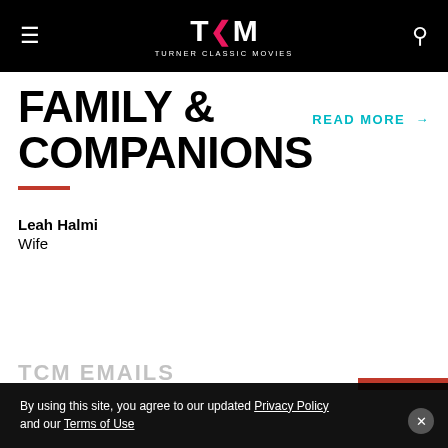TCM TURNER CLASSIC MOVIES
FAMILY & COMPANIONS
READ MORE →
Leah Halmi
Wife
By using this site, you agree to our updated Privacy Policy and our Terms of Use